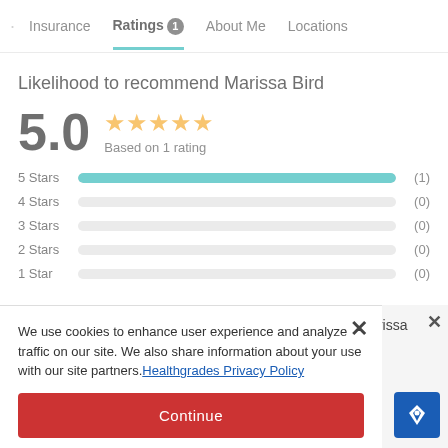Insurance | Ratings 1 | About Me | Locations
Likelihood to recommend Marissa Bird
5.0 ★★★★★ Based on 1 rating
[Figure (bar-chart): Star rating distribution]
We use cookies to enhance user experience and analyze traffic on our site. We also share information about your use with our site partners. Healthgrades Privacy Policy
Continue
Access my Privacy Preferences
nd Marissa